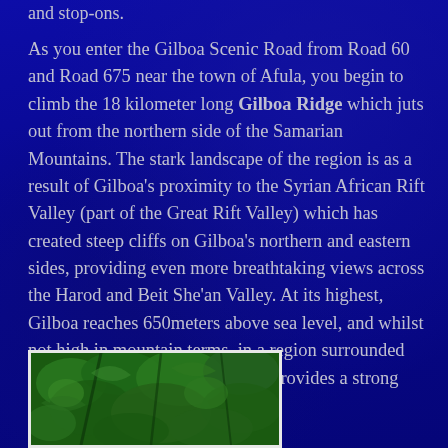and stop-ons.
As you enter the Gilboa Scenic Road from Road 60 and Road 675 near the town of Afula, you begin to climb the 18 kilometer long Gilboa Ridge which juts out from the northern side of the Samarian Mountains. The stark landscape of the region is as a result of Gilboa’s proximity to the Syrian African Rift Valley (part of the Great Rift Valley) which has created steep cliffs on Gilboa’s northern and eastern sides, providing even more breathtaking views across the Harod and Beit She’an Valley. At its highest, Gilboa reaches 650meters above sea level, and whilst not high in mountain terms, in a region surrounded largely by valleys and lowlands, provides a strong contrast.
[Figure (photo): Photograph of dense green foliage/leaves on trees, shown at bottom left of page]